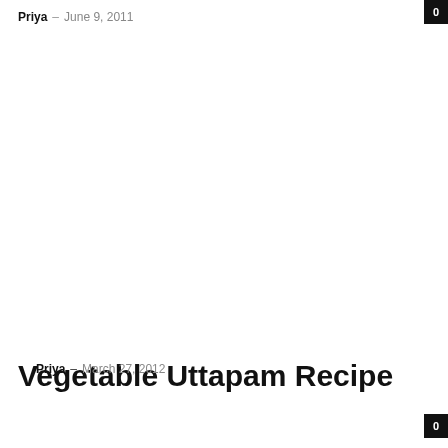Priya · June 9, 2011
Vegetable Uttapam Recipe
Priya · March 27, 2012